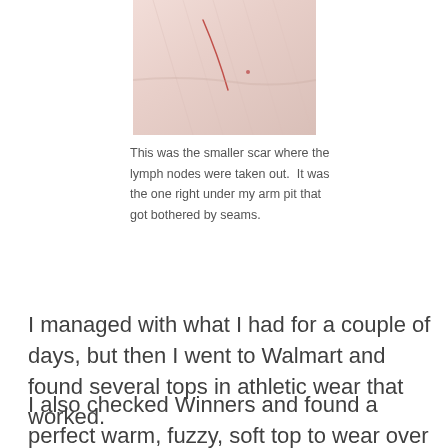[Figure (photo): Close-up photograph of a surgical scar on pale skin, showing a thin reddish linear scar near the armpit area.]
This was the smaller scar where the lymph nodes were taken out.  It was the one right under my arm pit that got bothered by seams.
I managed with what I had for a couple of days, but then I went to Walmart and found several tops in athletic wear that worked.
I also checked Winners and found a perfect warm, fuzzy, soft top to wear over the